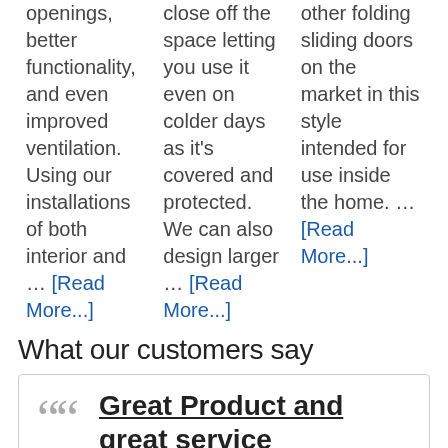openings, better functionality, and even improved ventilation. Using our installations of both interior and … [Read More...]
close off the space letting you use it even on colder days as it's covered and protected. We can also design larger … [Read More...]
other folding sliding doors on the market in this style intended for use inside the home. … [Read More...]
What our customers say
Great Product and great service
I can not fault the FGC team and most